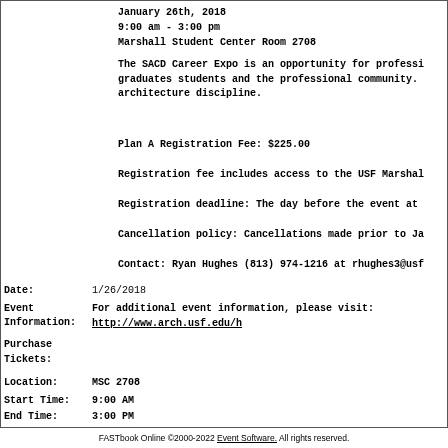January 26th, 2018
9:00 am - 3:00 pm
Marshall Student Center Room 2708
The SACD Career Expo is an opportunity for professi graduates students and the professional community. architecture discipline.
Plan A Registration Fee: $225.00
Registration fee includes access to the USF Marshall
Registration deadline: The day before the event at
Cancellation policy: Cancellations made prior to Ja
Contact: Ryan Hughes (813) 974-1216 at rhughes3@usf
Date: 1/26/2018
Event Information: For additional event information, please visit: http://www.arch.usf.edu/h
Purchase Tickets:
Location: MSC 2708
Start Time: 9:00 AM
End Time: 3:00 PM
FASTbook Online ©2000-2022 Event Software. All rights reserved.